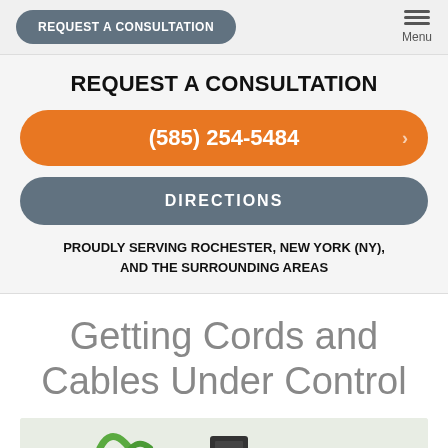REQUEST A CONSULTATION | Menu
REQUEST A CONSULTATION
(585) 254-5484
DIRECTIONS
PROUDLY SERVING ROCHESTER, NEW YORK (NY), AND THE SURROUNDING AREAS
Getting Cords and Cables Under Control
[Figure (photo): Photo of green cables/cords and a black electronic device on a white surface]